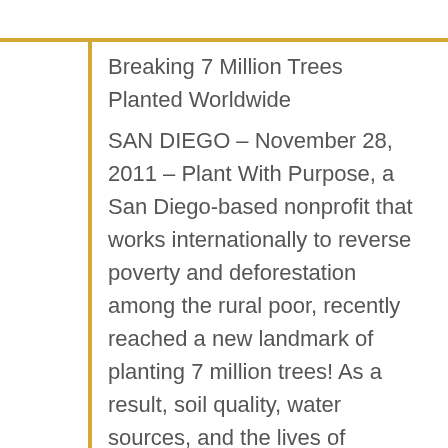Breaking 7 Million Trees Planted Worldwide
SAN DIEGO – November 28, 2011 – Plant With Purpose, a San Diego-based nonprofit that works internationally to reverse poverty and deforestation among the rural poor, recently reached a new landmark of planting 7 million trees! As a result, soil quality, water sources, and the lives of thousands of rural farmers have improved.